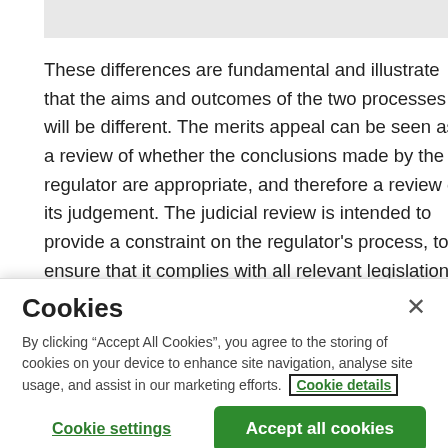These differences are fundamental and illustrate that the aims and outcomes of the two processes will be different. The merits appeal can be seen as a review of whether the conclusions made by the regulator are appropriate, and therefore a review of its judgement. The judicial review is intended to provide a constraint on the regulator's process, to ensure that it complies with all relevant legislation and best practice. At present, both options are open to the regulated
Cookies
By clicking “Accept All Cookies”, you agree to the storing of cookies on your device to enhance site navigation, analyse site usage, and assist in our marketing efforts. Cookie details
Cookie settings
Accept all cookies